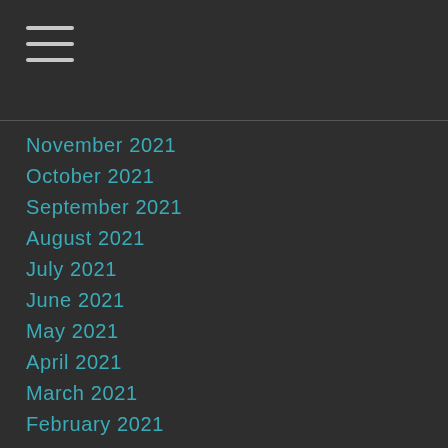[Figure (other): Hamburger menu icon with three horizontal lines]
November 2021
October 2021
September 2021
August 2021
July 2021
June 2021
May 2021
April 2021
March 2021
February 2021
January 2021
December 2020
November 2020
October 2020
September 2020
August 2020
July 2020